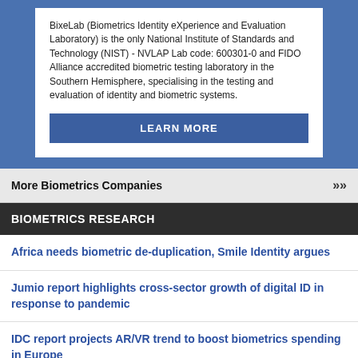BixeLab (Biometrics Identity eXperience and Evaluation Laboratory) is the only National Institute of Standards and Technology (NIST) - NVLAP Lab code: 600301-0 and FIDO Alliance accredited biometric testing laboratory in the Southern Hemisphere, specialising in the testing and evaluation of identity and biometric systems.
LEARN MORE
More Biometrics Companies >>>
BIOMETRICS RESEARCH
Africa needs biometric de-duplication, Smile Identity argues
Jumio report highlights cross-sector growth of digital ID in response to pandemic
IDC report projects AR/VR trend to boost biometrics spending in Europe
More Biometrics Research >>>